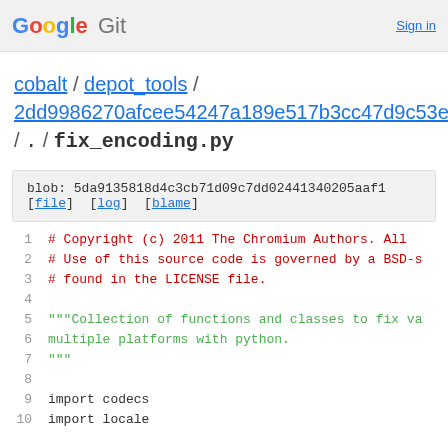Google Git  Sign in
cobalt / depot_tools / 2dd9986270afcee54247a189e517b3cc47d9c53e / . / fix_encoding.py
blob: 5da9135818d4c3cb71d09c7dd02441340205aaf1
[file] [log] [blame]
1  # Copyright (c) 2011 The Chromium Authors. All
2  # Use of this source code is governed by a BSD-s
3  # found in the LICENSE file.
4
5  """Collection of functions and classes to fix va
6  multiple platforms with python.
7  """
8
9  import codecs
10 import locale